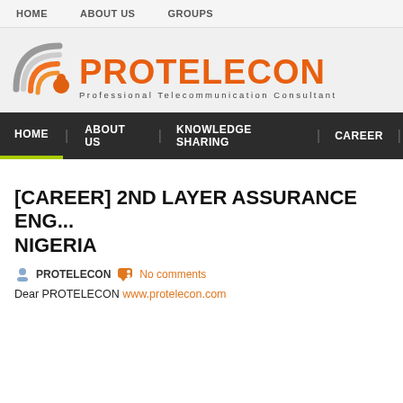HOME   ABOUT US   GROUPS
[Figure (logo): PROTELECON logo with signal icon and tagline 'Professional Telecommunication Consultant']
HOME | ABOUT US | KNOWLEDGE SHARING | CAREER
[CAREER] 2ND LAYER ASSURANCE ENG... NIGERIA
PROTELECON   No comments
Dear PROTELECON www.protelecon.com